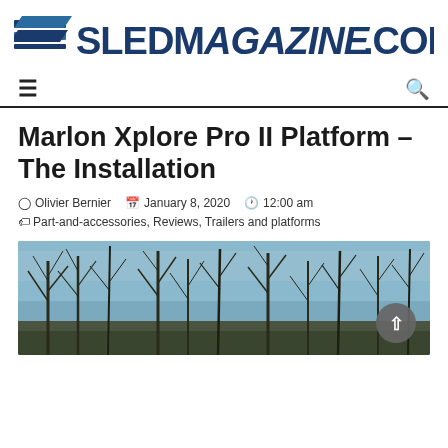SLEDMAGAZINE.COM
Marlon Xplore Pro II Platform – The Installation
Olivier Bernier  January 8, 2020  12:00 am
Part-and-accessories, Reviews, Trailers and platforms
[Figure (photo): Outdoor winter scene with bare trees against a blue sky, snowmobile platform installation photo]